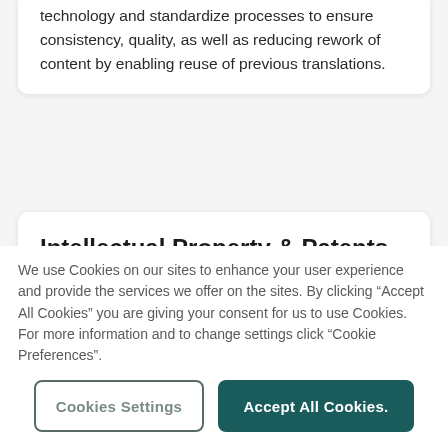technology and standardize processes to ensure consistency, quality, as well as reducing rework of content by enabling reuse of previous translations.
Intellectual Property & Patents
Benefit from a secure translation supply chain when working on multilingual patents, trademarks, or copyrighted works so that your clients can realize their intellectual property's
We use Cookies on our sites to enhance your user experience and provide the services we offer on the sites. By clicking “Accept All Cookies” you are giving your consent for us to use Cookies. For more information and to change settings click “Cookie Preferences”.
Cookies Settings
Accept All Cookies.